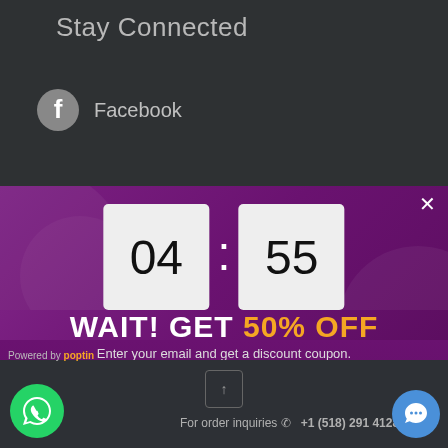Stay Connected
Facebook
[Figure (screenshot): Popup modal with purple background showing countdown timer 04:55 (Minutes:Seconds), headline WAIT! GET 50% OFF, email input field, and YES! I WANT A COUPON button]
WAIT! GET 50% OFF
Enter your email and get a discount coupon. The offer will disappear in...
Email
YES! I WANT A COUPON
(Minimum order of $49)
Powered by poptin
For order inquiries +1 (518) 291 4128